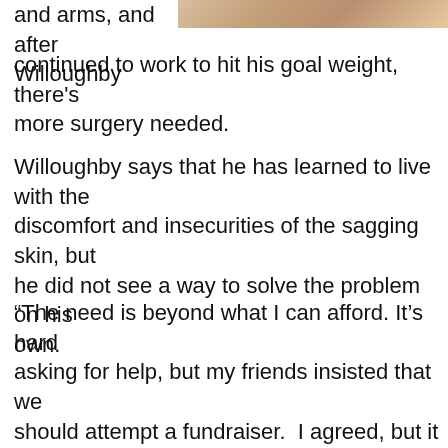[Figure (photo): Cropped photo showing skin/hands, partially visible at top right of page]
and arms, and after Willoughby continued to work to hit his goal weight, there's more surgery needed.
Willoughby says that he has learned to live with the discomfort and insecurities of the sagging skin, but he did not see a way to solve the problem on his own.
“The need is beyond what I can afford. It’s hard asking for help, but my friends insisted that we should attempt a fundraiser.  I agreed, but it wasn’t easy. I had to drop my pride,” says  Willoughby.